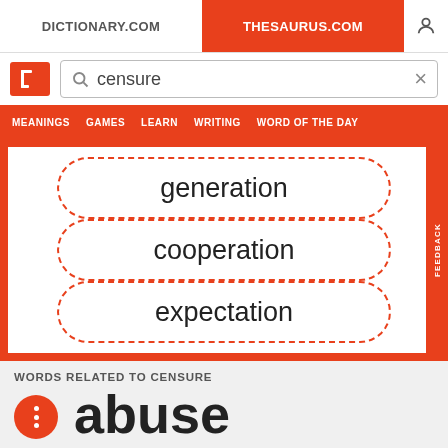DICTIONARY.COM | THESAURUS.COM
censure
MEANINGS  GAMES  LEARN  WRITING  WORD OF THE DAY
generation
cooperation
expectation
WORDS RELATED TO CENSURE
abuse